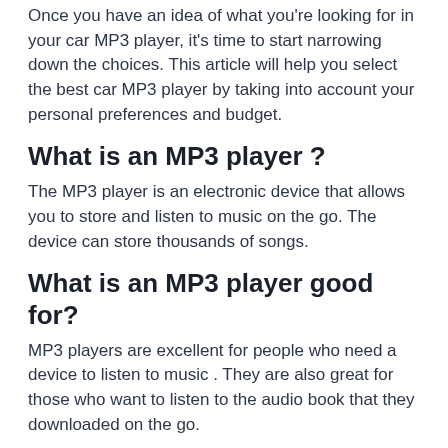Once you have an idea of what you're looking for in your car MP3 player, it's time to start narrowing down the choices. This article will help you select the best car MP3 player by taking into account your personal preferences and budget.
What is an MP3 player ?
The MP3 player is an electronic device that allows you to store and listen to music on the go. The device can store thousands of songs.
What is an MP3 player good for?
MP3 players are excellent for people who need a device to listen to music . They are also great for those who want to listen to the audio book that they downloaded on the go.
MP3 players can be used in so many ways: they can be used by athletes, travelers, and even students. There are